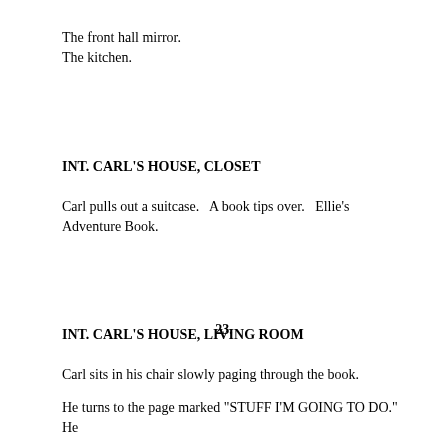The front hall mirror.
The kitchen.
INT. CARL'S HOUSE, CLOSET
Carl pulls out a suitcase.   A book tips over.   Ellie's Adventure Book.
INT. CARL'S HOUSE, LIVING ROOM
Carl sits in his chair slowly paging through the book.
23.
He turns to the page marked "STUFF I'M GOING TO DO."   He